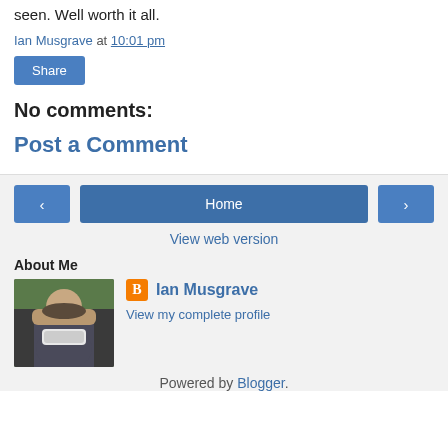seen. Well worth it all.
Ian Musgrave at 10:01 pm
Share
No comments:
Post a Comment
< Home >
View web version
About Me
Ian Musgrave
View my complete profile
Powered by Blogger.